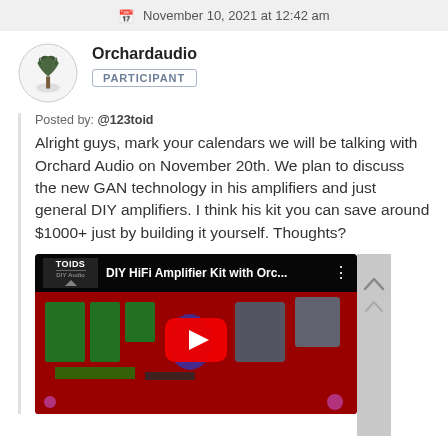November 10, 2021 at 12:42 am
Orchardaudio
PARTICIPANT
Posted by: @123toid
Alright guys, mark your calendars we will be talking with Orchard Audio on November 20th. We plan to discuss the new GAN technology in his amplifiers and just general DIY amplifiers.  I think his kit you can save around $1000+ just by building it yourself.  Thoughts?
[Figure (screenshot): YouTube video thumbnail showing a red PCB amplifier board with electronic components. Video title: DIY HiFi Amplifier Kit with Orc... Channel logo: TOIDS DIY Audio. Red play button overlay.]